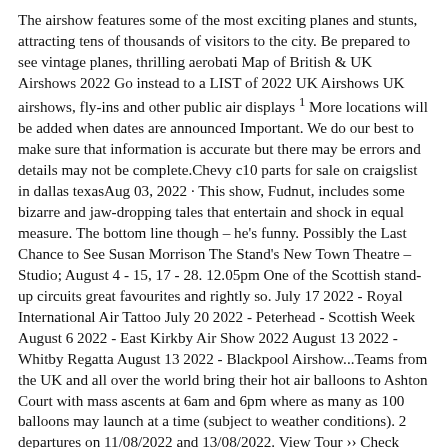The airshow features some of the most exciting planes and stunts, attracting tens of thousands of visitors to the city. Be prepared to see vintage planes, thrilling aerobati Map of British & UK Airshows 2022 Go instead to a LIST of 2022 UK Airshows UK airshows, fly-ins and other public air displays ¹ More locations will be added when dates are announced Important. We do our best to make sure that information is accurate but there may be errors and details may not be complete.Chevy c10 parts for sale on craigslist in dallas texasAug 03, 2022 · This show, Fudnut, includes some bizarre and jaw-dropping tales that entertain and shock in equal measure. The bottom line though – he's funny. Possibly the Last Chance to See Susan Morrison The Stand's New Town Theatre – Studio; August 4 - 15, 17 - 28. 12.05pm One of the Scottish stand-up circuits great favourites and rightly so. July 17 2022 - Royal International Air Tattoo July 20 2022 - Peterhead - Scottish Week August 6 2022 - East Kirkby Air Show 2022 August 13 2022 - Whitby Regatta August 13 2022 - Blackpool Airshow...Teams from the UK and all over the world bring their hot air balloons to Ashton Court with mass ascents at 6am and 6pm where as many as 100 balloons may launch at a time (subject to weather conditions). 2 departures on 11/08/2022 and 13/08/2022. View Tour ›› Check Availability ››. Air Ambulances UK reassures Supporters, Members and Partners. In light of the recently launched Charity Commission inquiry into the Air Ambulance Foundation UK (1155345). Air Ambulances UK wants to reassure supporters